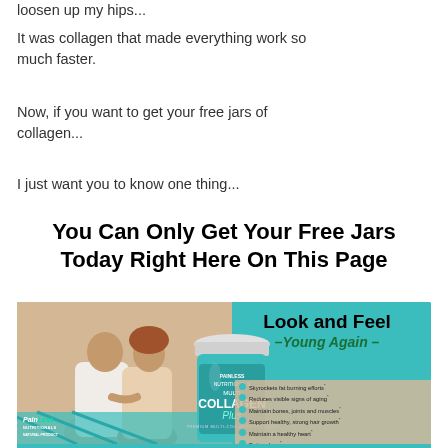loosen up my hips...
It was collagen that made everything work so much faster.
Now, if you want to get your free jars of collagen...
I just want you to know one thing...
You Can Only Get Your Free Jars Today Right Here On This Page
[Figure (photo): Product advertisement image showing a couple sitting together viewed from behind, a container of Multi Collagen Plus supplement, a teal background with 'Look and Feel –Young Again–' text, a benefits list including: Skyrockets fat burning efforts, Reduces visible signs of aging, Maintain bones, joints and muscles, Support healthy strong hair growth, Maintain a healthy heart, Better sleep. PainLess Nutritionals branding. Bottom bar: Get Up to 3 FREE Jars]